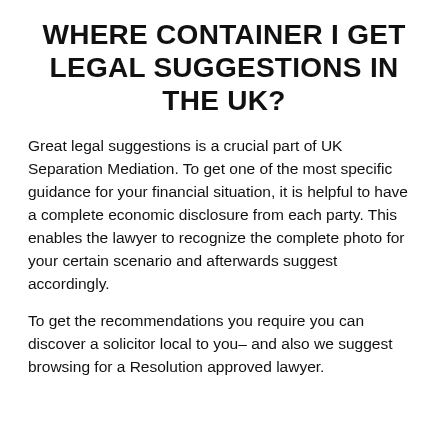WHERE CONTAINER I GET LEGAL SUGGESTIONS IN THE UK?
Great legal suggestions is a crucial part of UK Separation Mediation. To get one of the most specific guidance for your financial situation, it is helpful to have a complete economic disclosure from each party. This enables the lawyer to recognize the complete photo for your certain scenario and afterwards suggest accordingly.
To get the recommendations you require you can discover a solicitor local to you– and also we suggest browsing for a Resolution approved lawyer.